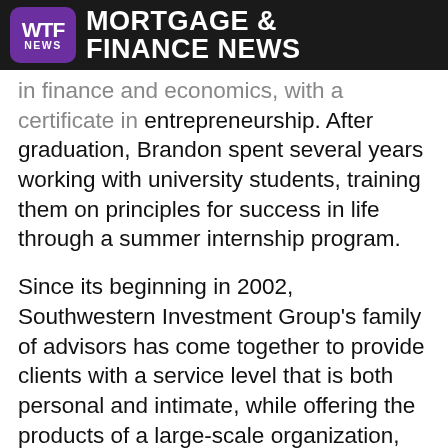MORTGAGE & FINANCE NEWS
in finance and economics, with a certificate in entrepreneurship. After graduation, Brandon spent several years working with university students, training them on principles for success in life through a summer internship program.
Since its beginning in 2002, Southwestern Investment Group’s family of advisors has come together to provide clients with a service level that is both personal and intimate, while offering the products of a large-scale organization, thanks to its relationship with broker/dealer Raymond James Financial Services. To learn more, visit the company’s website at